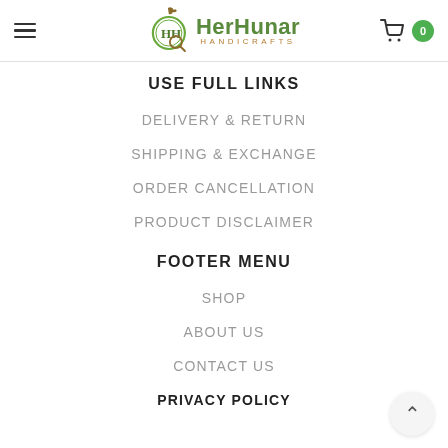HerHunar Handicrafts
USE FULL LINKS
DELIVERY & RETURN
SHIPPING & EXCHANGE
ORDER CANCELLATION
PRODUCT DISCLAIMER
FOOTER MENU
SHOP
ABOUT US
CONTACT US
PRIVACY POLICY